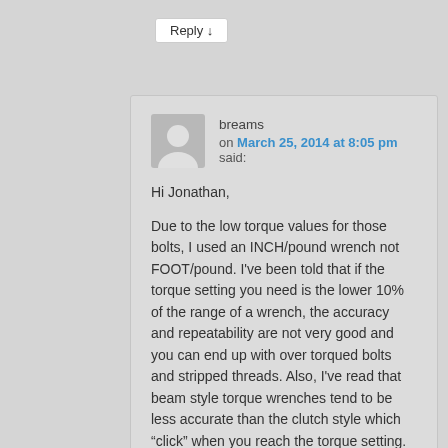Reply ↓
breams
on March 25, 2014 at 8:05 pm said:
Hi Jonathan,

Due to the low torque values for those bolts, I used an INCH/pound wrench not FOOT/pound. I've been told that if the torque setting you need is the lower 10% of the range of a wrench, the accuracy and repeatability are not very good and you can end up with over torqued bolts and stripped threads. Also, I've read that beam style torque wrenches tend to be less accurate than the clutch style which "click" when you reach the torque setting. This maybe more of an issue with lower torque settings as a bit more grunt on the wrench